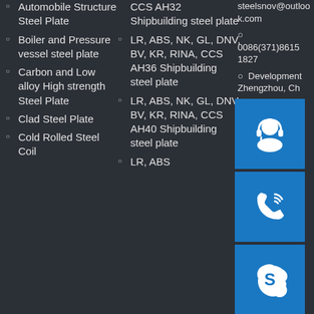Automobile Structure Steel Plate
Boiler and Pressure vessel steel plate
Carbon and Low alloy High strength Steel Plate
Clad Steel Plate
Cold Rolled Steel Coil
CCS AH32 Shipbuilding steel plate
LR, ABS, NK, GL, DNV, BV, KR, RINA, CCS AH36 Shipbuilding steel plate
LR, ABS, NK, GL, DNV, BV, KR, RINA, CCS AH40 Shipbuilding steel plate
LR, ABS
steelsnov@outlook.com
0086(371)8615 1827
Development Zhengzhou, Ch
[Figure (illustration): Three blue icon boxes: headset/support icon, phone icon, Skype icon]